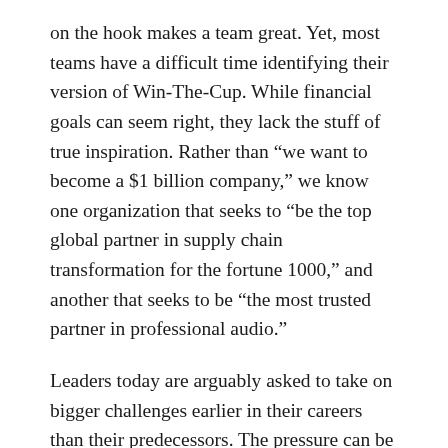on the hook makes a team great. Yet, most teams have a difficult time identifying their version of Win-The-Cup. While financial goals can seem right, they lack the stuff of true inspiration. Rather than “we want to become a $1 billion company,” we know one organization that seeks to “be the top global partner in supply chain transformation for the fortune 1000,” and another that seeks to be “the most trusted partner in professional audio.”
Leaders today are arguably asked to take on bigger challenges earlier in their careers than their predecessors. The pressure can be enormous; many managers will try to compensate by over-functioning. Yet the best chance for success requires stepping back and identifying a common purpose and a stretch vision